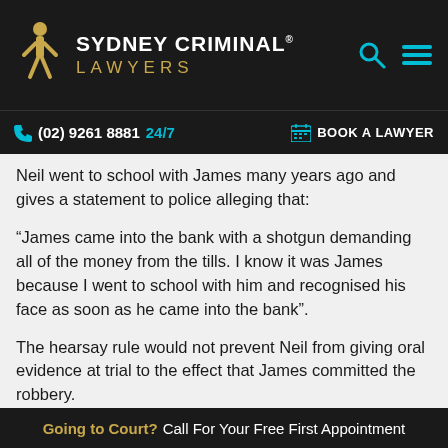SYDNEY CRIMINAL® LAWYERS
(02) 9261 8881 24/7   BOOK A LAWYER
Neil went to school with James many years ago and gives a statement to police alleging that:
“James came into the bank with a shotgun demanding all of the money from the tills. I know it was James because I went to school with him and recognised his face as soon as he came into the bank”.
The hearsay rule would not prevent Neil from giving oral evidence at trial to the effect that James committed the robbery.
But what if Neil did not attend the trial, and the only
Going to Court? Call For Your Free First Appointment